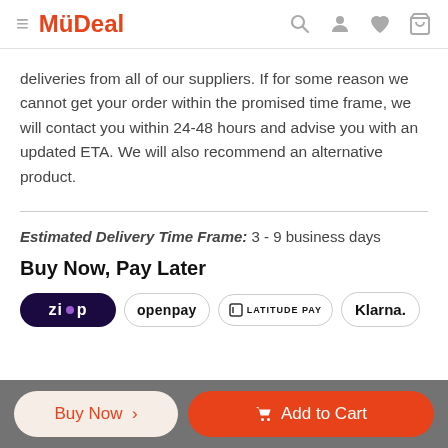MyDeal
deliveries from all of our suppliers. If for some reason we cannot get your order within the promised time frame, we will contact you within 24-48 hours and advise you with an updated ETA. We will also recommend an alternative product.
Estimated Delivery Time Frame: 3 - 9 business days
Buy Now, Pay Later
[Figure (logo): Payment provider logos: Zip, Openpay, Latitude Pay, Klarna]
Buy Now > | Add to Cart